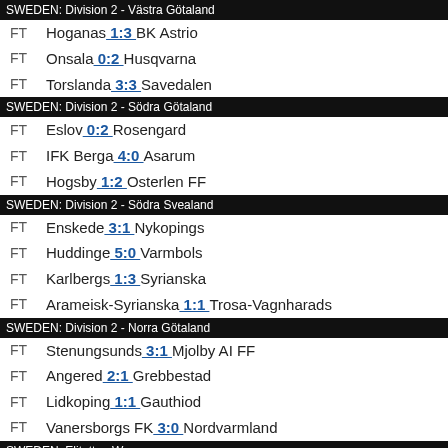SWEDEN: Division 2 - Västra Götaland
FT  Hoganas 1:3 BK Astrio
FT  Onsala 0:2 Husqvarna
FT  Torslanda 3:3 Savedalen
SWEDEN: Division 2 - Södra Götaland
FT  Eslov 0:2 Rosengard
FT  IFK Berga 4:0 Asarum
FT  Hogsby 1:2 Osterlen FF
SWEDEN: Division 2 - Södra Svealand
FT  Enskede 3:1 Nykopings
FT  Huddinge 5:0 Varmbols
FT  Karlbergs 1:3 Syrianska
FT  Arameisk-Syrianska 1:1 Trosa-Vagnharads
SWEDEN: Division 2 - Norra Götaland
FT  Stenungsunds 3:1 Mjolby AI FF
FT  Angered 2:1 Grebbestad
FT  Lidkoping 1:1 Gauthiod
FT  Vanersborgs FK 3:0 Nordvarmland
SWEDEN: Elitettan Women
FT  Sundsvall W 0:1 Bromolla W
FT  Alvsjo W 1:4 Mallbacken W
FT  Bergdalens IK W 3:1 Team TG FF W
FT  Uppsala W 0:1 Norrkoping W
SWITZERLAND: Super League